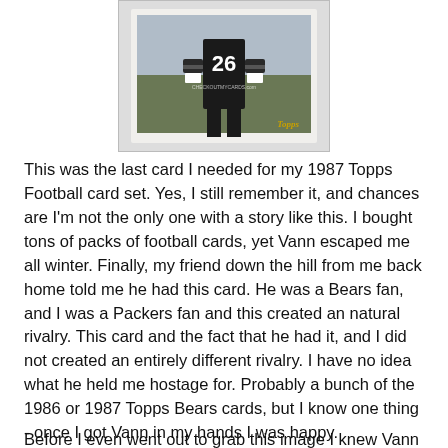[Figure (photo): A Topps football trading card showing a player wearing jersey number 26, in a dark uniform. The card has a white border and shows the Topps logo at the bottom right and a CHECKOUTMYCARDS.com watermark.]
This was the last card I needed for my 1987 Topps Football card set. Yes, I still remember it, and chances are I'm not the only one with a story like this. I bought tons of packs of football cards, yet Vann escaped me all winter. Finally, my friend down the hill from me back home told me he had this card. He was a Bears fan, and I was a Packers fan and this created an natural rivalry. This card and the fact that he had it, and I did not created an entirely different rivalry. I have no idea what he held me hostage for. Probably a bunch of the 1986 or 1987 Topps Bears cards, but I know one thing - once I got Vann in my hands I was happy.
Before I even went out to grab this image I knew Vann was